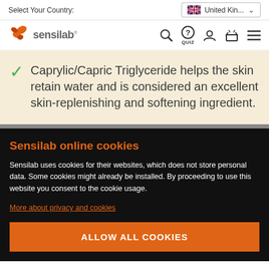Select Your Country: United Kin...
[Figure (logo): Sensilab logo with orange butterfly icon and text 'sensilab' with navigation icons: search, quiz, user, basket, menu]
Caprylic/Capric Triglyceride helps the skin retain water and is considered an excellent skin-replenishing and softening ingredient.
Sensilab online cookies
Sensilab uses cookies for their websites, which does not store personal data. Some cookies might already be installed. By proceeding to use this website you consent to the cookie usage.
More about privacy and cookies
ALLOW ALL COOKIES